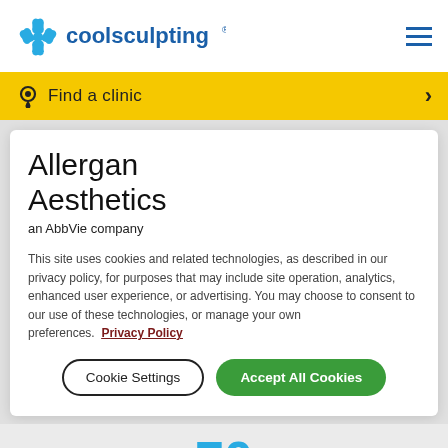CoolSculpting
Find a clinic
Allergan Aesthetics
an AbbVie company
This site uses cookies and related technologies, as described in our privacy policy, for purposes that may include site operation, analytics, enhanced user experience, or advertising. You may choose to consent to our use of these technologies, or manage your own preferences. Privacy Policy
Cookie Settings
Accept All Cookies
70
Clinical research has produced 70 publications on the subject